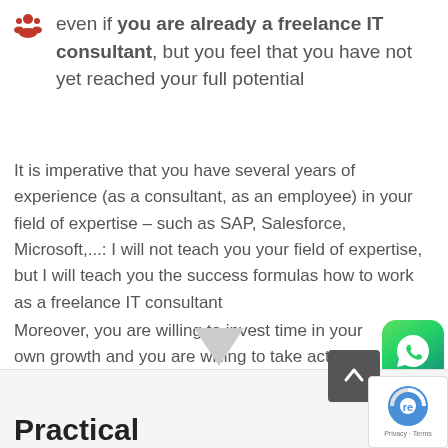even if you are already a freelance IT consultant, but you feel that you have not yet reached your full potential
It is imperative that you have several years of experience (as a consultant, as an employee) in your field of expertise – such as SAP, Salesforce, Microsoft,...: I will not teach you your field of expertise, but I will teach you the success formulas how to work as a freelance IT consultant
Moreover, you are willing to invest time in your own growth and you are willing to take action.
Practical